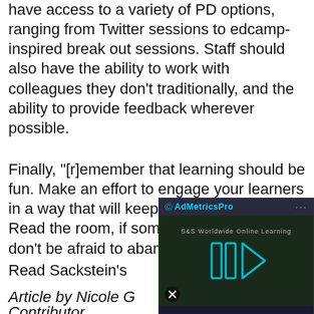have access to a variety of PD options, ranging from Twitter sessions to edcamp-inspired break out sessions. Staff should also have the ability to work with colleagues they don't traditionally, and the ability to provide feedback wherever possible.
Finally, "[r]emember that learning should be fun. Make an effort to engage your learners in a way that will keep them interested. Read the room, if something isn't working, don't be afraid to abandon it."
Read Sackstein's
[Figure (screenshot): An advertisement overlay showing AdMetricsPro branding with a dark-themed video player featuring blue play icons and S&S Worldwide Online Learning text.]
Article by Nicole G Contributor